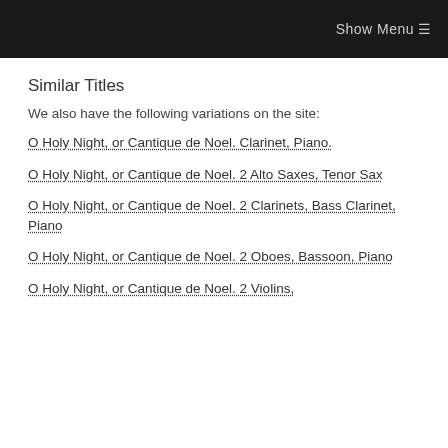Show Menu ☰
Similar Titles
We also have the following variations on the site:
O Holy Night, or Cantique de Noel. Clarinet, Piano.
O Holy Night, or Cantique de Noel. 2 Alto Saxes, Tenor Sax
O Holy Night, or Cantique de Noel. 2 Clarinets, Bass Clarinet, Piano
O Holy Night, or Cantique de Noel. 2 Oboes, Bassoon, Piano
O Holy Night, or Cantique de Noel. 2 Violins,